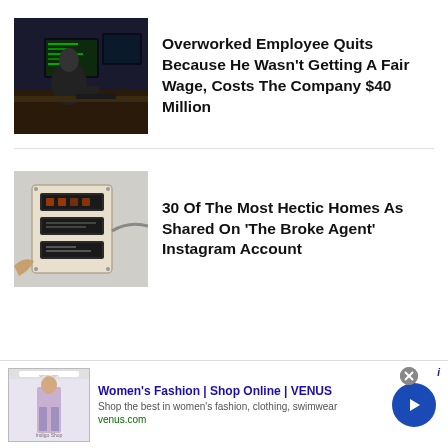[Figure (photo): Person from behind working at multiple computer monitors in a dark office environment]
Overworked Employee Quits Because He Wasn't Getting A Fair Wage, Costs The Company $40 Million
[Figure (photo): Close-up of old electronic/security panel device mounted on a wall]
30 Of The Most Hectic Homes As Shared On 'The Broke Agent' Instagram Account
[Figure (screenshot): Advertisement for Women's Fashion Shop Online VENUS website with a fashion model image]
Women's Fashion | Shop Online | VENUS
Shop the best in women's fashion, clothing, swimwear
venus.com